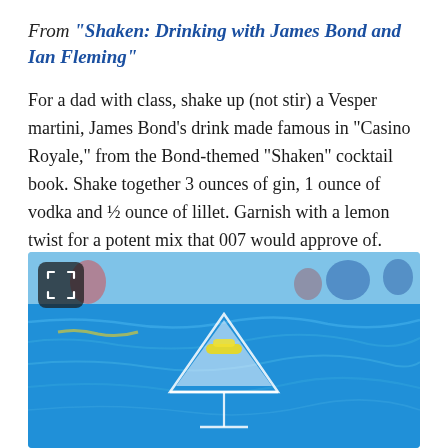From "Shaken: Drinking with James Bond and Ian Fleming"
For a dad with class, shake up (not stir) a Vesper martini, James Bond’s drink made famous in “Casino Royale,” from the Bond-themed “Shaken” cocktail book. Shake together 3 ounces of gin, 1 ounce of vodka and ½ ounce of lillet. Garnish with a lemon twist for a potent mix that 007 would approve of.
[Figure (photo): A martini glass with a lemon twist garnish, set against a bright blue swimming pool background with people in the background.]